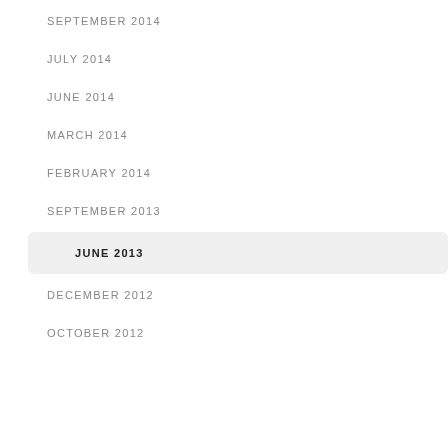SEPTEMBER 2014
JULY 2014
JUNE 2014
MARCH 2014
FEBRUARY 2014
SEPTEMBER 2013
JUNE 2013
DECEMBER 2012
OCTOBER 2012